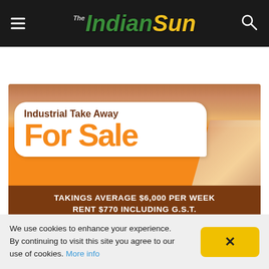The Indian Sun
[Figure (illustration): Advertisement banner for Industrial Take Away For Sale. Orange background with food photos. White rounded text box with 'Industrial Take Away For Sale'. Brown banner reads 'TAKINGS AVERAGE $6,000 PER WEEK RENT $770 INCLUDING G.S.T.']
We use cookies to enhance your experience. By continuing to visit this site you agree to our use of cookies. More info